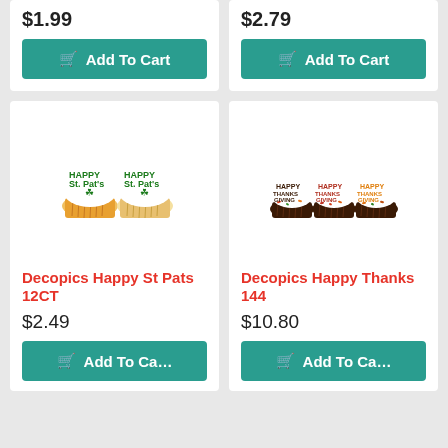$1.99
Add To Cart
$2.79
Add To Cart
[Figure (photo): Two cupcakes with white frosting and green 'Happy St. Pats' toppers on yellow cake bases]
Decopics Happy St Pats 12CT
$2.49
Add To Cart
[Figure (photo): Three chocolate cupcakes with white frosting, autumn sprinkles, and 'Happy Thanksgiving' toppers in brown, red, and orange]
Decopics Happy Thanks 144
$10.80
Add To Cart